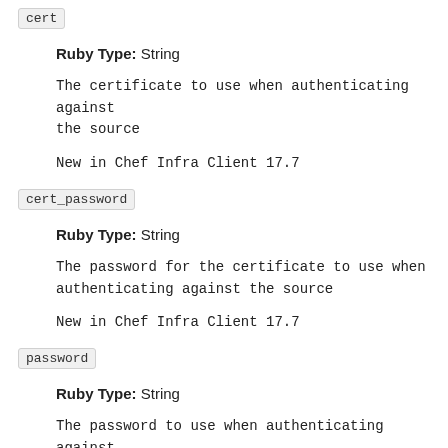cert
Ruby Type: String
The certificate to use when authenticating against the source
New in Chef Infra Client 17.7
cert_password
Ruby Type: String
The password for the certificate to use when authenticating against the source
New in Chef Infra Client 17.7
password
Ruby Type: String
The password to use when authenticating against